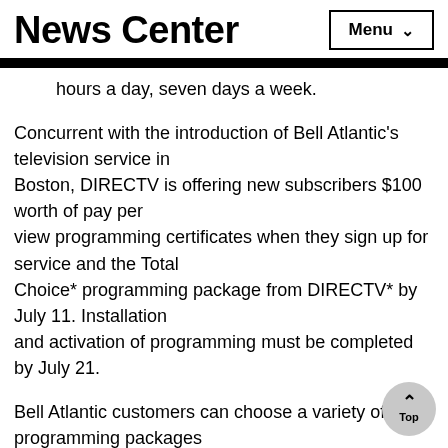News Center
hours a day, seven days a week.
Concurrent with the introduction of Bell Atlantic's television service in Boston, DIRECTV is offering new subscribers $100 worth of pay per view programming certificates when they sign up for service and the Total Choice* programming package from DIRECTV* by July 11. Installation and activation of programming must be completed by July 21.
Bell Atlantic customers can choose a variety of programming packages from DIRECTV, the most popular featuring more than 60 networks